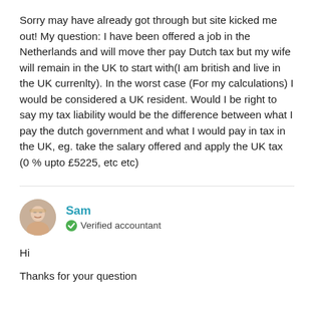Sorry may have already got through but site kicked me out! My question: I have been offered a job in the Netherlands and will move ther pay Dutch tax but my wife will remain in the UK to start with(I am british and live in the UK currenlty). In the worst case (For my calculations) I would be considered a UK resident. Would I be right to say my tax liability would be the difference between what I pay the dutch government and what I would pay in tax in the UK, eg. take the salary offered and apply the UK tax (0 % upto £5225, etc etc)
Sam
Verified accountant
Hi
Thanks for your question